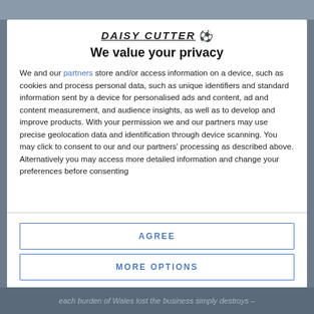[Figure (logo): Daisy Cutter logo with soccer ball emoji]
We value your privacy
We and our partners store and/or access information on a device, such as cookies and process personal data, such as unique identifiers and standard information sent by a device for personalised ads and content, ad and content measurement, and audience insights, as well as to develop and improve products. With your permission we and our partners may use precise geolocation data and identification through device scanning. You may click to consent to our and our partners' processing as described above. Alternatively you may access more detailed information and change your preferences before consenting
AGREE
MORE OPTIONS
each burden of Wales lost the business simply destroys –